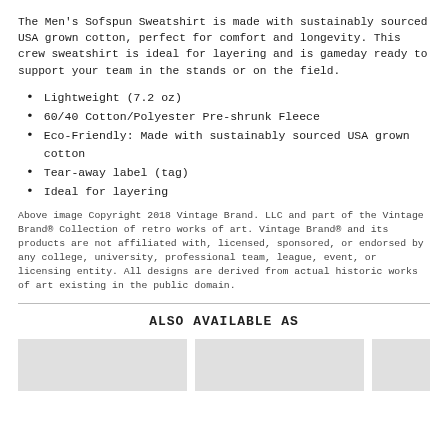The Men's Sofspun Sweatshirt is made with sustainably sourced USA grown cotton, perfect for comfort and longevity. This crew sweatshirt is ideal for layering and is gameday ready to support your team in the stands or on the field.
Lightweight (7.2 oz)
60/40 Cotton/Polyester Pre-shrunk Fleece
Eco-Friendly: Made with sustainably sourced USA grown cotton
Tear-away label (tag)
Ideal for layering
Above image Copyright 2018 Vintage Brand. LLC and part of the Vintage Brand® Collection of retro works of art. Vintage Brand® and its products are not affiliated with, licensed, sponsored, or endorsed by any college, university, professional team, league, event, or licensing entity. All designs are derived from actual historic works of art existing in the public domain.
ALSO AVAILABLE AS
[Figure (photo): Three product image placeholders shown as gray boxes]